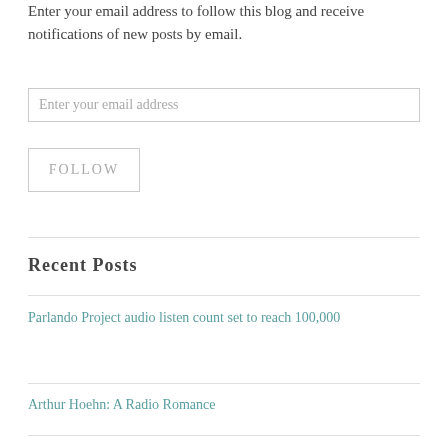Enter your email address to follow this blog and receive notifications of new posts by email.
[Figure (other): Email input field with placeholder text 'Enter your email address']
[Figure (other): Follow button with text 'FOLLOW']
Recent Posts
Parlando Project audio listen count set to reach 100,000
Arthur Hoehn: A Radio Romance